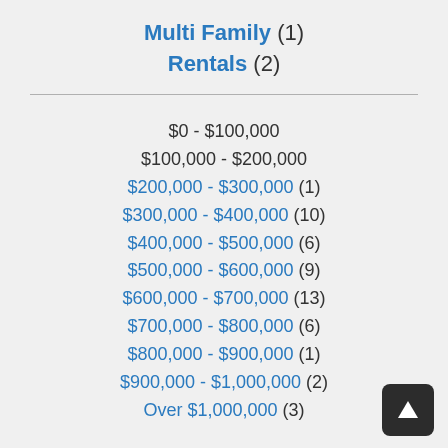Multi Family (1)
Rentals (2)
$0 - $100,000
$100,000 - $200,000
$200,000 - $300,000 (1)
$300,000 - $400,000 (10)
$400,000 - $500,000 (6)
$500,000 - $600,000 (9)
$600,000 - $700,000 (13)
$700,000 - $800,000 (6)
$800,000 - $900,000 (1)
$900,000 - $1,000,000 (2)
Over $1,000,000 (3)